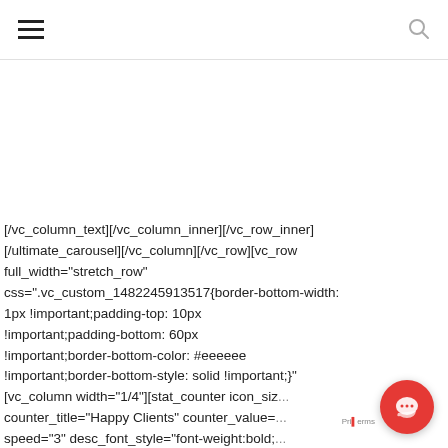hamburger menu icon and search icon
[/vc_column_text][/vc_column_inner][/vc_row_inner][/ultimate_carousel][/vc_column][/vc_row][vc_row full_width="stretch_row" css=".vc_custom_1482245913517{border-bottom-width: 1px !important;padding-top: 10px !important;padding-bottom: 60px !important;border-bottom-color: #eeeeee !important;border-bottom-style: solid !important;}"][vc_column width="1/4"][stat_counter icon_siz... counter_title="Happy Clients" counter_value=... speed="3" desc_font_style="font-weight:bold;... desc_font_size="desktop:60px;"][/vc_column]